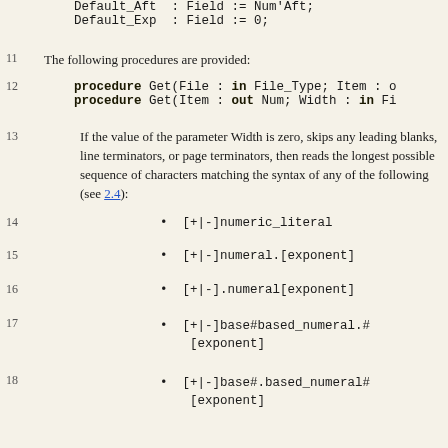Default_Aft  : Field := Num'Aft;
    Default_Exp  : Field := 0;
11
The following procedures are provided:
12
procedure Get(File : in File_Type; Item : o
    procedure Get(Item : out Num; Width : in Fi
13
If the value of the parameter Width is zero, skips any leading blanks, line terminators, or page terminators, then reads the longest possible sequence of characters matching the syntax of any of the following (see 2.4):
14
[+|-]numeric_literal
15
[+|-]numeral.[exponent]
16
[+|-].numeral[exponent]
17
[+|-]base#based_numeral.#[exponent]
18
[+|-]base#.based_numeral#[exponent]